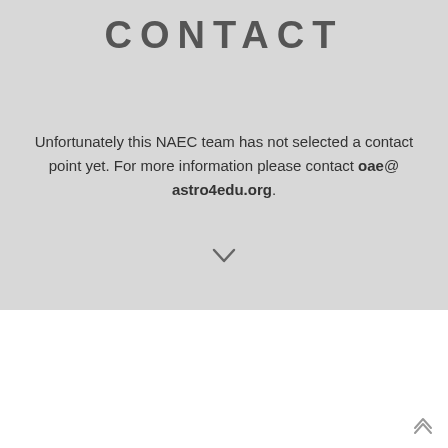OAE
CONTACT
Unfortunately this NAEC team has not selected a contact point yet. For more information please contact oae@astro4edu.org.
[Figure (other): Down chevron arrow icon]
[Figure (other): Scroll-to-top up chevron icon at bottom right]